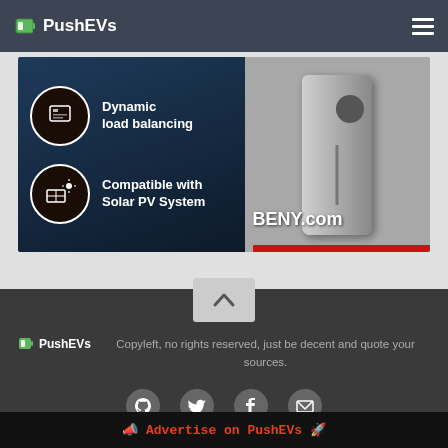PushEVs
[Figure (photo): BENY EV charger advertisement showing dynamic load balancing and solar PV system compatibility features, with a silver EV charger unit on the right and BENY.com branding]
[Figure (infographic): Back to top chevron button]
🔋 PushEVs    Copyleft, no rights reserved, just be decent and quote your sources.
[Figure (infographic): Social media icons: GitHub, Twitter, Facebook, Email]
📣 Advertise on PushEVs 🚀